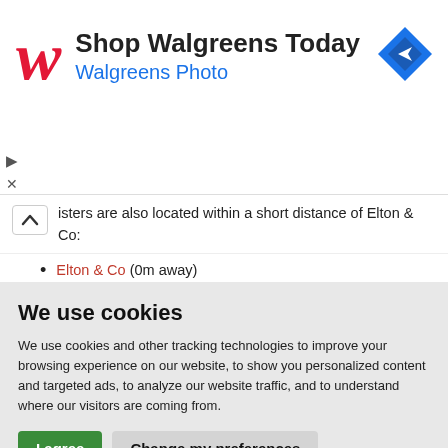[Figure (screenshot): Walgreens advertisement banner with red cursive W logo, 'Shop Walgreens Today' heading, 'Walgreens Photo' subtitle in blue, and a blue diamond navigation icon on the right. Ad controls (triangle play and X icons) on the left side.]
isters are also located within a short distance of Elton & Co:
Elton & Co (0m away)
We use cookies
We use cookies and other tracking technologies to improve your browsing experience on our website, to show you personalized content and targeted ads, to analyze our website traffic, and to understand where our visitors are coming from.
I agree   Change my preferences